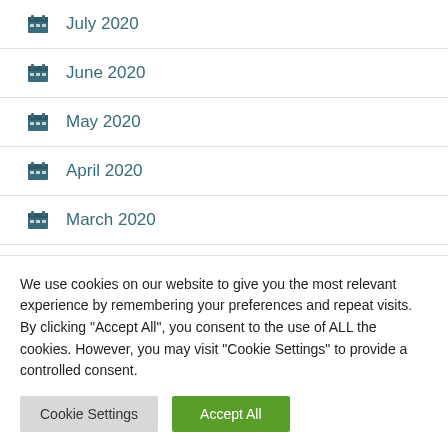July 2020
June 2020
May 2020
April 2020
March 2020
February 2020
We use cookies on our website to give you the most relevant experience by remembering your preferences and repeat visits. By clicking "Accept All", you consent to the use of ALL the cookies. However, you may visit "Cookie Settings" to provide a controlled consent.